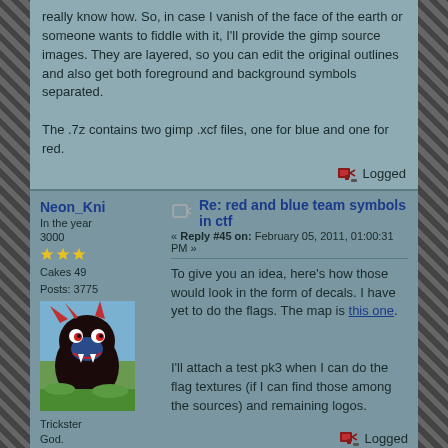really know how. So, in case I vanish of the face of the earth or someone wants to fiddle with it, I'll provide the gimp source images. They are layered, so you can edit the original outlines and also get both foreground and background symbols separated.

The .7z contains two gimp .xcf files, one for blue and one for red.
Logged
Re: red and blue team symbols in ctf
« Reply #45 on: February 05, 2011, 01:00:31 PM »
Neon_Kni
In the year 3000
Cakes 49
Posts: 3775
[Figure (illustration): Avatar image showing a colorful stylized creature with red, blue and black tones against a green background]
Trickster God.
To give you an idea, here's how those would look in the form of decals. I have yet to do the flags. The map is this one.
I'll attach a test pk3 when I can do the flag textures (if I can find those among the sources) and remaining logos.
Logged